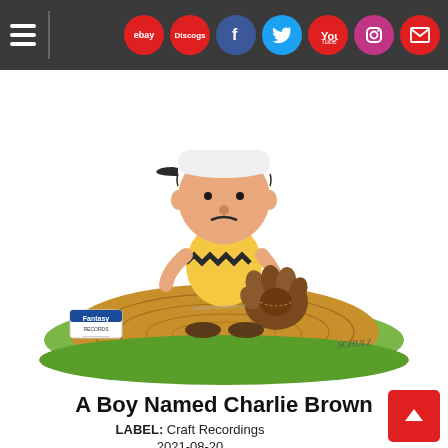Navigation bar with hamburger menu, eBay, Discogs, Facebook, Twitter, YouTube, Instagram, Mail icons
[Figure (illustration): Charlie Brown cartoon character wearing a white baseball cap and yellow shirt with black zigzag stripe, holding a baseball glove, standing on a pitcher's mound. Fantasy Records label visible at bottom left. Schulz signature at bottom right.]
A Boy Named Charlie Brown
LABEL: Craft Recordings
2021-08-20